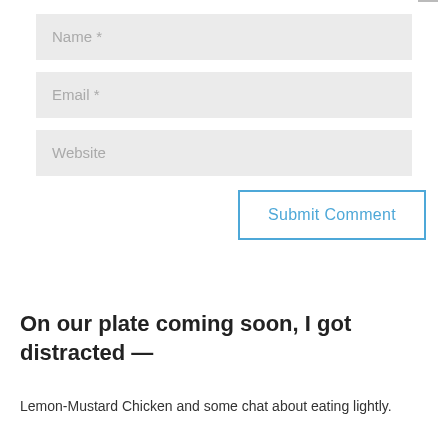[Figure (screenshot): Web form with Name, Email, Website input fields and a Submit Comment button]
On our plate coming soon, I got distracted —
Lemon-Mustard Chicken and some chat about eating lightly.